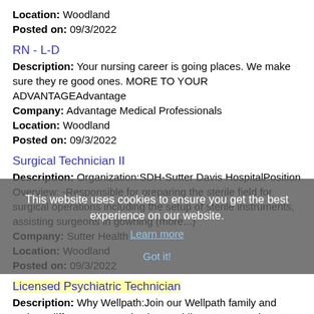Location: Woodland
Posted on: 09/3/2022
RN - L-D
Description: Your nursing career is going places. We make sure they re good ones. MORE TO YOUR ADVANTAGEAdvantage
Company: Advantage Medical Professionals
Location: Woodland
Posted on: 09/3/2022
Surgical Technician II
Description: Organization:SDH-Sutter Davis HospitalPosition Overview: -Responsible for preparing the sterile field for surgical operations including the setup of sterile instruments, assisting surgeons in gowning (more...)
Company: Sutter Health
Location: Woodland
Posted on: 09/3/2022
Licensed Psychiatric Technician
Description: Why Wellpath:Join our Wellpath family and make a difference every day by providing care to society s most vulnerable and often overlooked individuals. Our team has the distinct honor and responsibility (more...)